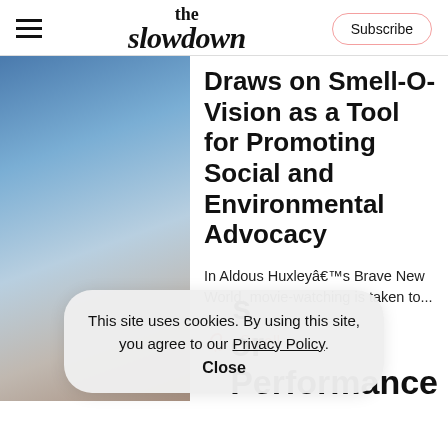the slowdown — Subscribe
Draws on Smell-O-Vision as a Tool for Promoting Social and Environmental Advocacy
In Aldous Huxleyâ€™s Brave New World, movie-watching is taken to...
Smell
This site uses cookies. By using this site, you agree to our Privacy Policy. Close
Performance